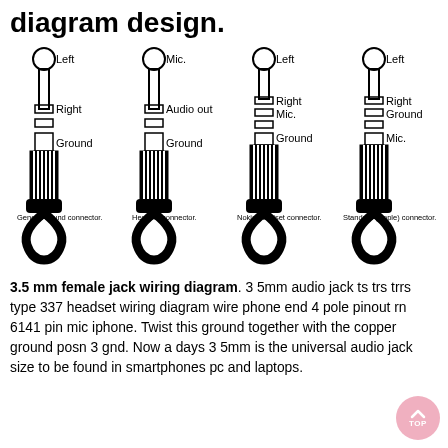diagram design.
[Figure (schematic): Four 3.5mm audio jack connector diagrams side by side: Generic sound connector (Left, Right, Ground), Headset connector (Mic., Audio out, Ground), Nokia headset connector (Left, Right, Mic., Ground), Standard (Apple) connector (Left, Right, Ground, Mic.)]
3.5 mm female jack wiring diagram. 3 5mm audio jack ts trs trrs type 337 headset wiring diagram wire phone end 4 pole pinout rn 6141 pin mic iphone. Twist this ground together with the copper ground posn 3 gnd. Now a days 3 5mm is the universal audio jack size to be found in smartphones pc and laptops.